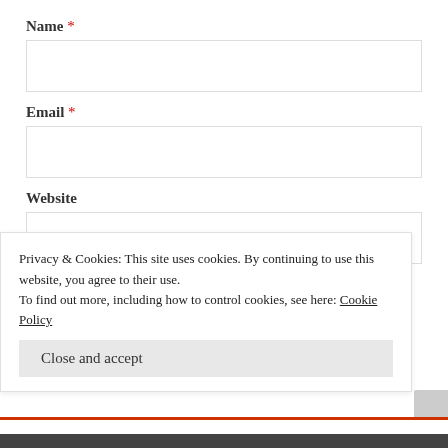Name *
Email *
Website
Post Comment
Notify me of new comments via email
Privacy & Cookies: This site uses cookies. By continuing to use this website, you agree to their use.
To find out more, including how to control cookies, see here: Cookie Policy
Close and accept